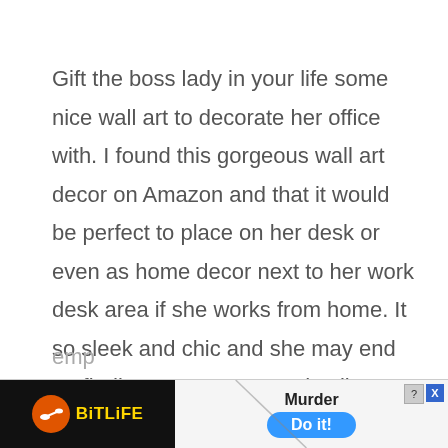Gift the boss lady in your life some nice wall art to decorate her office with. I found this gorgeous wall art decor on Amazon and that it would be perfect to place on her desk or even as home decor next to her work desk area if she works from home. It so sleek and chic and she may end up finding a quote or two that'll become her daily mantra! It comes with a gold picture frame with motivational quotes inside. It's one of those gift ideas for female boss, supervisor, manager, administrator, wife, mom, and friend who feels emp
[Figure (other): Advertisement banner for BitLife game with 'Murder Do it!' text and a blue button]